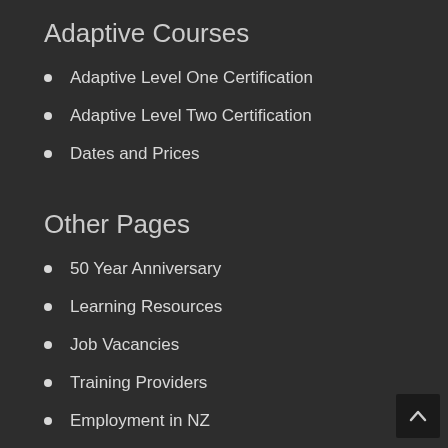Adaptive Courses
Adaptive Level One Certification
Adaptive Level Two Certification
Dates and Prices
Other Pages
50 Year Anniversary
Learning Resources
Job Vacancies
Training Providers
Employment in NZ
Instructor of the Year
NZSIA Member Benefits
Downloads